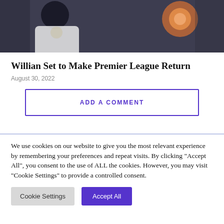[Figure (photo): Photo of a football player in a white jersey, close-up side profile, with an orange bokeh light in the background against a dark blue-grey background.]
Willian Set to Make Premier League Return
August 30, 2022
ADD A COMMENT
We use cookies on our website to give you the most relevant experience by remembering your preferences and repeat visits. By clicking “Accept All”, you consent to the use of ALL the cookies. However, you may visit “Cookie Settings” to provide a controlled consent.
Cookie Settings
Accept All